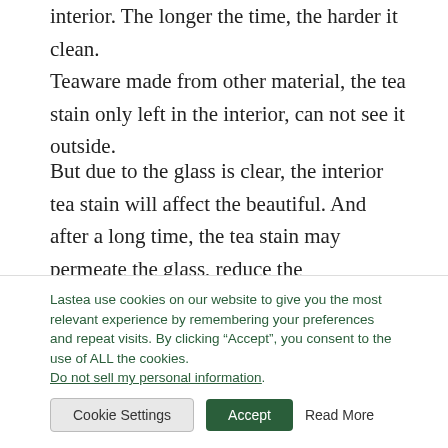interior. The longer the time, the harder it clean. Teaware made from other material, the tea stain only left in the interior, can not see it outside.
But due to the glass is clear, the interior tea stain will affect the beautiful. And after a long time, the tea stain may permeate the glass, reduce the transparency, and change the color. So it must clean thoroughly after every time using.
Lastea use cookies on our website to give you the most relevant experience by remembering your preferences and repeat visits. By clicking “Accept”, you consent to the use of ALL the cookies. Do not sell my personal information.